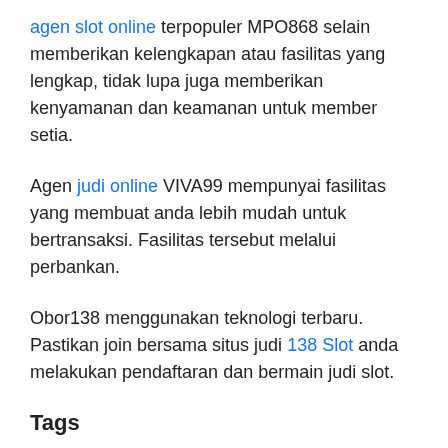agen slot online terpopuler MPO868 selain memberikan kelengkapan atau fasilitas yang lengkap, tidak lupa juga memberikan kenyamanan dan keamanan untuk member setia.
Agen judi online VIVA99 mempunyai fasilitas yang membuat anda lebih mudah untuk bertransaksi. Fasilitas tersebut melalui perbankan.
Obor138 menggunakan teknologi terbaru. Pastikan join bersama situs judi 138 Slot anda melakukan pendaftaran dan bermain judi slot.
Tags
agen bola
agen judi online
agen sbobet
Agen Slot Online
bandarq
BandarQ Online
bandarqq
Casino Online
daftar situs judi slot online terpercaya
daftar slot online